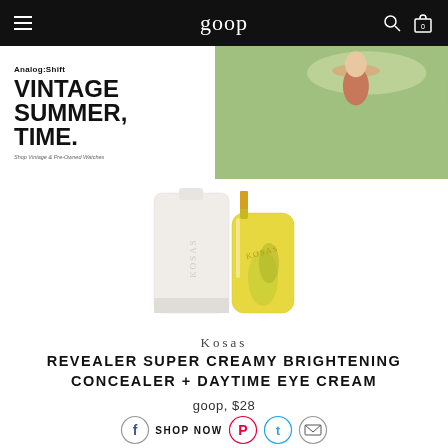goop
[Figure (photo): Analog:Shift advertisement banner with bold text 'VINTAGE SUMMER, TIME.' on white left panel, and a woman in a wide-brim hat in a summer landscape on the right]
[Figure (photo): Two Kosas product bottles — a white/cream concealer tube and a yellow glass eye cream bottle with gold cap]
Kosas
REVEALER SUPER CREAMY BRIGHTENING CONCEALER + DAYTIME EYE CREAM
goop, $28
[Figure (other): Social share buttons row: Facebook, Pinterest, Twitter/X, Email circle icons with SHOP NOW text between them]